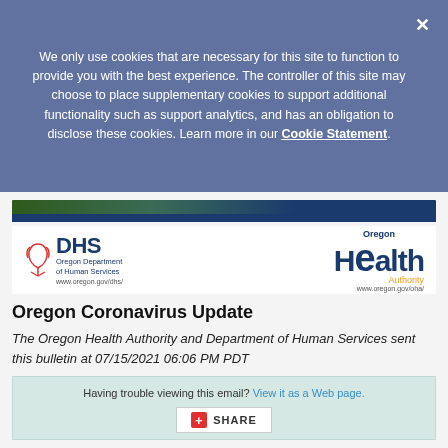We only use cookies that are necessary for this site to function to provide you with the best experience. The controller of this site may choose to place supplementary cookies to support additional functionality such as support analytics, and has an obligation to disclose these cookies. Learn more in our Cookie Statement.
[Figure (logo): Oregon DHS and Oregon Health Authority logos side by side with colored banner header]
Oregon Coronavirus Update
The Oregon Health Authority and Department of Human Services sent this bulletin at 07/15/2021 06:06 PM PDT
Having trouble viewing this email? View it as a Web page.